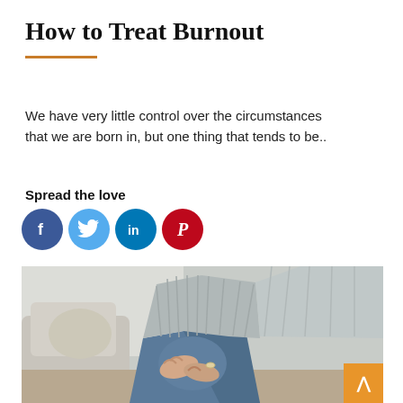How to Treat Burnout
We have very little control over the circumstances that we are born in, but one thing that tends to be..
Spread the love
[Figure (other): Social media share icons: Facebook (blue circle with f), Twitter (light blue circle with bird), LinkedIn (dark blue circle with in), Pinterest (red circle with P)]
[Figure (photo): A person in a grey knit sweater and blue jeans sitting on a couch or bench, leaning forward with hands clasped around their knee, suggesting stress or exhaustion.]